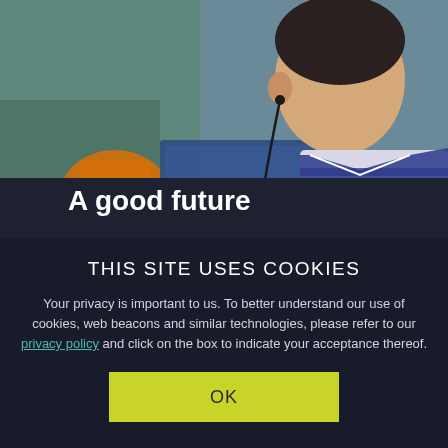[Figure (photo): A student wearing earphones/earbuds looking at a screen, wearing a school uniform with blue and white stripes, in a classroom or study environment.]
A good future
THIS SITE USES COOKIES
Your privacy is important to us. To better understand our use of cookies, web beacons and similar technologies, please refer to our privacy policy and click on the box to indicate your acceptance thereof.
OK